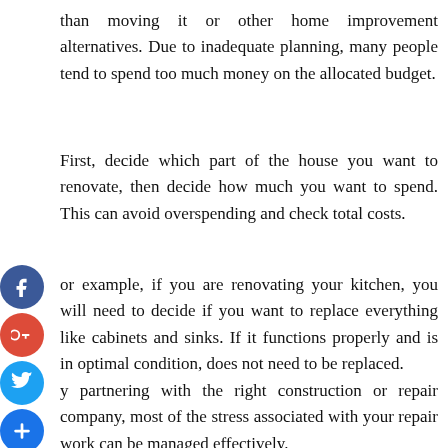than moving it or other home improvement alternatives. Due to inadequate planning, many people tend to spend too much money on the allocated budget.
First, decide which part of the house you want to renovate, then decide how much you want to spend. This can avoid overspending and check total costs.
or example, if you are renovating your kitchen, you will need to decide if you want to replace everything like cabinets and sinks. If it functions properly and is in optimal condition, does not need to be replaced.
y partnering with the right construction or repair company, most of the stress associated with your repair work can be managed effectively.